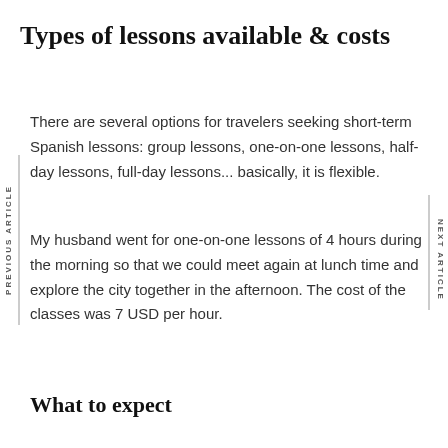Types of lessons available & costs
There are several options for travelers seeking short-term Spanish lessons: group lessons, one-on-one lessons, half-day lessons, full-day lessons... basically, it is flexible.
My husband went for one-on-one lessons of 4 hours during the morning so that we could meet again at lunch time and explore the city together in the afternoon. The cost of the classes was 7 USD per hour.
What to expect